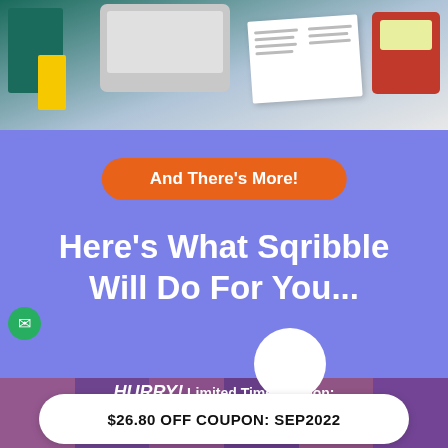[Figure (photo): Product images including books, laptop, open book, and red card on light background]
And There's More!
Here's What Sqribble Will Do For You...
HURRY! Limited Time Coupon:
Day 6  Hour 08  Min 23  Sec 22
$26.80 OFF COUPON: SEP2022